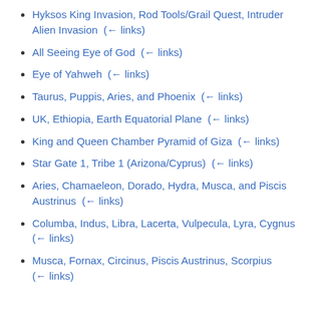Hyksos King Invasion, Rod Tools/Grail Quest, Intruder Alien Invasion  (← links)
All Seeing Eye of God  (← links)
Eye of Yahweh  (← links)
Taurus, Puppis, Aries, and Phoenix  (← links)
UK, Ethiopia, Earth Equatorial Plane  (← links)
King and Queen Chamber Pyramid of Giza  (← links)
Star Gate 1, Tribe 1 (Arizona/Cyprus)  (← links)
Aries, Chamaeleon, Dorado, Hydra, Musca, and Piscis Austrinus  (← links)
Columba, Indus, Libra, Lacerta, Vulpecula, Lyra, Cygnus  (← links)
Musca, Fornax, Circinus, Piscis Austrinus, Scorpius  (← links)